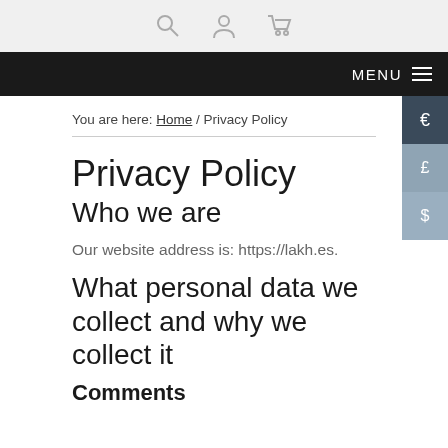[search icon] [user icon] [cart icon]
MENU ≡
You are here: Home / Privacy Policy
Privacy Policy
Who we are
Our website address is: https://lakh.es.
What personal data we collect and why we collect it
Comments